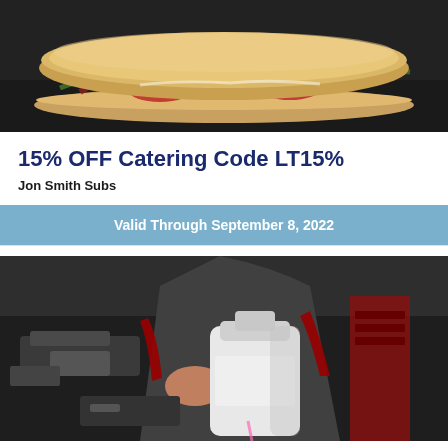[Figure (photo): A large sub sandwich with meat, tomatoes, lettuce on a dark background]
15% OFF Catering Code LT15%
Jon Smith Subs
Valid Through September 8, 2022
[Figure (photo): A mechanic pouring oil or fluid into a car engine, showing hands and engine bay]